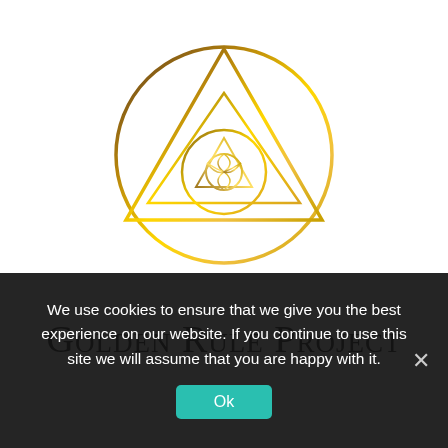[Figure (logo): Golden Rule Project logo: a geometric sacred geometry symbol with a circle, triangle, and inner smaller triangle/circle motif rendered in gold gradient tones on white background]
Golden Rule Project
We use cookies to ensure that we give you the best experience on our website. If you continue to use this site we will assume that you are happy with it.